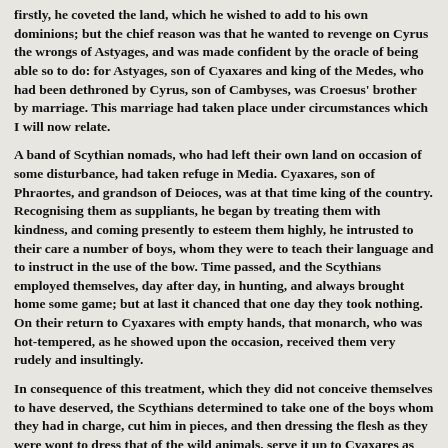firstly, he coveted the land, which he wished to add to his own dominions; but the chief reason was that he wanted to revenge on Cyrus the wrongs of Astyages, and was made confident by the oracle of being able so to do: for Astyages, son of Cyaxares and king of the Medes, who had been dethroned by Cyrus, son of Cambyses, was Croesus' brother by marriage. This marriage had taken place under circumstances which I will now relate.
A band of Scythian nomads, who had left their own land on occasion of some disturbance, had taken refuge in Media. Cyaxares, son of Phraortes, and grandson of Deioces, was at that time king of the country. Recognising them as suppliants, he began by treating them with kindness, and coming presently to esteem them highly, he intrusted to their care a number of boys, whom they were to teach their language and to instruct in the use of the bow. Time passed, and the Scythians employed themselves, day after day, in hunting, and always brought home some game; but at last it chanced that one day they took nothing. On their return to Cyaxares with empty hands, that monarch, who was hot-tempered, as he showed upon the occasion, received them very rudely and insultingly.
In consequence of this treatment, which they did not conceive themselves to have deserved, the Scythians determined to take one of the boys whom they had in charge, cut him in pieces, and then dressing the flesh as they were wont to dress that of the wild animals, serve it up to Cyaxares as game: after which they resolved to convey themselves with all speed to Sardis, to the court of Alyattes, the son of Sadyattes. The plan was carried out: Cyaxares and his guests ate of the flesh prepared by the Scythians, and they themselves, having accomplished